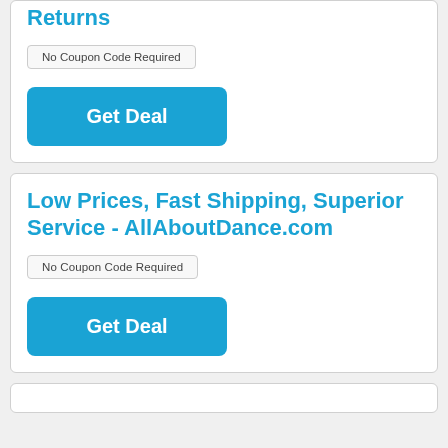Returns
No Coupon Code Required
Get Deal
Low Prices, Fast Shipping, Superior Service - AllAboutDance.com
No Coupon Code Required
Get Deal